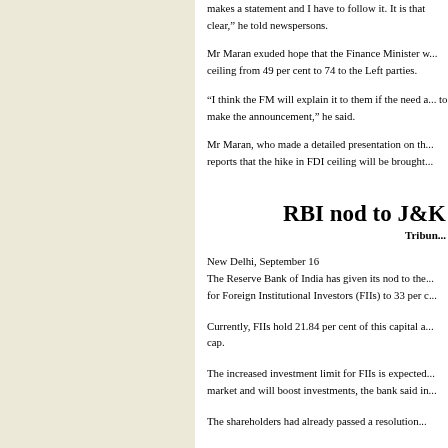makes a statement and I have to follow it. It is that clear," he told newspersons.
Mr Maran exuded hope that the Finance Minister would explain the hike in FDI ceiling from 49 per cent to 74 to the Left parties.
“I think the FM will explain it to them if the need arises before he gets up to make the announcement,” he said.
Mr Maran, who made a detailed presentation on the subject, dismissed reports that the hike in FDI ceiling will be brought...
RBI nod to J&K
Tribune
New Delhi, September 16
The Reserve Bank of India has given its nod to the raising of investment limit for Foreign Institutional Investors (FIIs) to 33 per c...
Currently, FIIs hold 21.84 per cent of this capital and are close to the existing cap.
The increased investment limit for FIIs is expected to attract more funds to the market and will boost investments, the bank said in...
The shareholders had already passed a resolution...